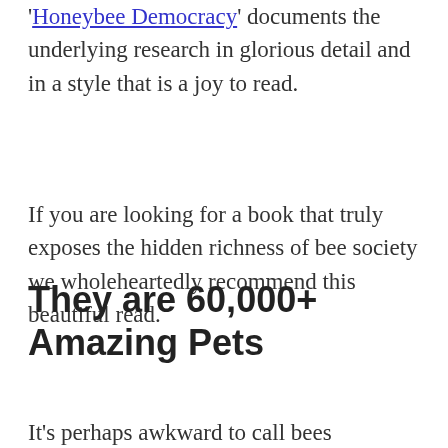'Honeybee Democracy' documents the underlying research in glorious detail and in a style that is a joy to read.
If you are looking for a book that truly exposes the hidden richness of bee society we wholeheartedly recommend this beautiful read.
They are 60,000+ Amazing Pets
It's perhaps awkward to call bees